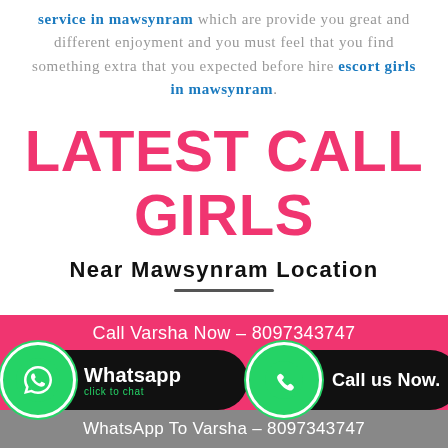service in mawsynram which are provide you great and different enjoyment and you must feel that you find something extra that you expected before hire escort girls in mawsynram.
LATEST CALL GIRLS
Near Mawsynram Location
Call Varsha Now - 8097343747
Whatsapp click to chat
Call us Now.
WhatsApp To Varsha - 8097343747